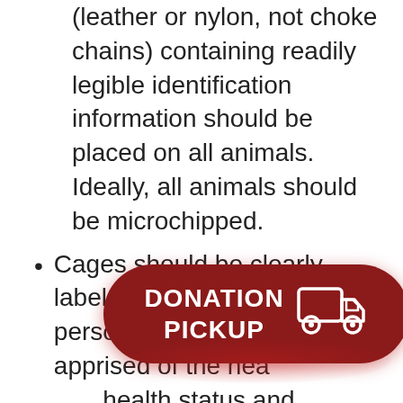(leather or nylon, not choke chains) containing readily legible identification information should be placed on all animals. Ideally, all animals should be microchipped.
Cages should be clearly labeled so that newly arriving personnel are easily apprised of the health status and temperament of the animals.
Animals arriving without
[Figure (infographic): A dark red rounded pill-shaped button/badge with white bold text reading 'DONATION PICKUP' and a white truck icon on the right side. A red glow appears beneath it.]